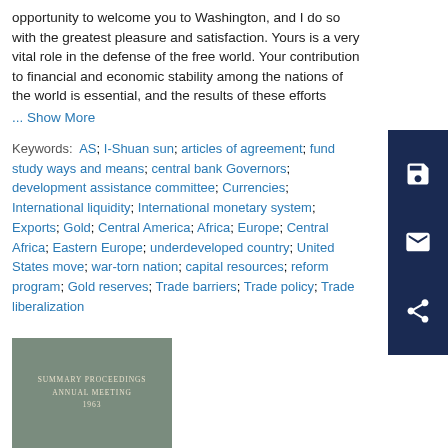opportunity to welcome you to Washington, and I do so with the greatest pleasure and satisfaction. Yours is a very vital role in the defense of the free world. Your contribution to financial and economic stability among the nations of the world is essential, and the results of these efforts
... Show More
Keywords: AS; I-Shuan sun; articles of agreement; fund study ways and means; central bank Governors; development assistance committee; Currencies; International liquidity; International monetary system; Exports; Gold; Central America; Africa; Europe; Central Africa; Eastern Europe; underdeveloped country; United States move; war-torn nation; capital resources; reform program; Gold reserves; Trade barriers; Trade policy; Trade liberalization
[Figure (illustration): Book cover thumbnail showing 'SUMMARY PROCEEDINGS ANNUAL MEETING 1963' text on a grey-green background]